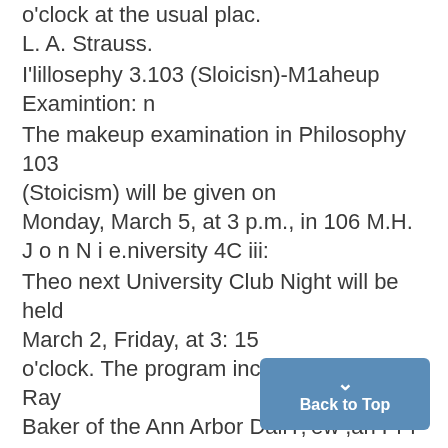o'clock at the usual plac.
L. A. Strauss.
l'lillosephy 3.103 (Sloicisn)-M1aheup Examintion: n
The makeup examination in Philosophy 103 (Stoicism) will be given on Monday, March 5, at 3 p.m., in 106 M.H.
J o n N i e.niversity 4C iii:
Theo next University Club Night will be held March 2, Friday, at 3: 15 o'clock. The program includes M r. R. Ray Baker of the Ann Arbor DailY;'ew ,an Pr f s o E.M G le f th Hi o y D p r m n . Programji Commiittee'.